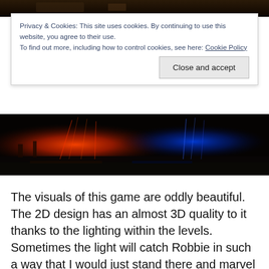[Figure (photo): Top dark image strip showing a dimly lit interior scene]
Privacy & Cookies: This site uses cookies. By continuing to use this website, you agree to their use.
To find out more, including how to control cookies, see here: Cookie Policy
Close and accept
[Figure (photo): Game screenshot showing colorful red and blue lighting effects in a dark level]
The visuals of this game are oddly beautiful. The 2D design has an almost 3D quality to it thanks to the lighting within the levels. Sometimes the light will catch Robbie in such a way that I would just stand there and marvel at how they got the lighting elements so perfect. Honestly, for an indie 2D platformer, some AAA game designers could take a leaf out of Pixel Reign's book when it comes to lighting. When Robbie dies, a small amount of blood splatter will stay on the walls as well, which helps you remember where hidden traps are. Also, wherever